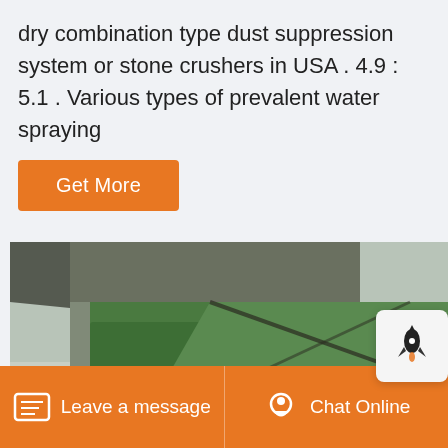dry combination type dust suppression system or stone crushers in USA . 4.9 : 5.1 . Various types of prevalent water spraying
Get More
[Figure (photo): A large green industrial stone crusher machine photographed outdoors, showing heavy metal frame, crushing mechanism with belt/pulley, and structural supports.]
Leave a message   Chat Online